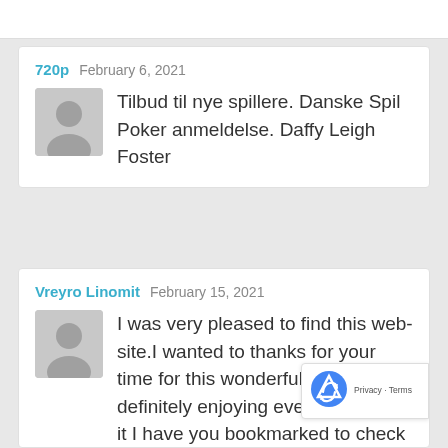720p  February 6, 2021
Tilbud til nye spillere. Danske Spil Poker anmeldelse. Daffy Leigh Foster
Vreyro Linomit  February 15, 2021
I was very pleased to find this web-site.I wanted to thanks for your time for this wonderful read!! I definitely enjoying every little bit of it I have you bookmarked to check out n...